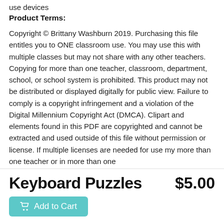use devices
Product Terms:
Copyright © Brittany Washburn 2019. Purchasing this file entitles you to ONE classroom use. You may use this with multiple classes but may not share with any other teachers. Copying for more than one teacher, classroom, department, school, or school system is prohibited. This product may not be distributed or displayed digitally for public view. Failure to comply is a copyright infringement and a violation of the Digital Millennium Copyright Act (DMCA). Clipart and elements found in this PDF are copyrighted and cannot be extracted and used outside of this file without permission or license. If multiple licenses are needed for use my more than one teacher or in more than one
Keyboard Puzzles
$5.00
Add to Cart